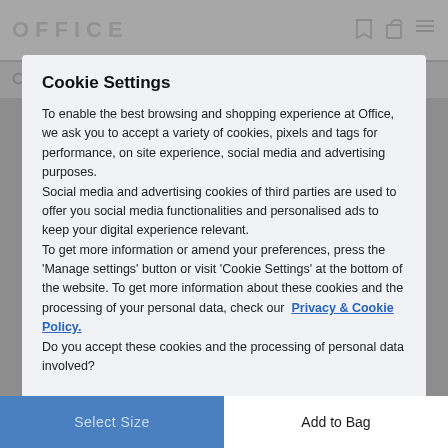OFFICE
Cookie Settings
To enable the best browsing and shopping experience at Office, we ask you to accept a variety of cookies, pixels and tags for performance, on site experience, social media and advertising purposes.
Social media and advertising cookies of third parties are used to offer you social media functionalities and personalised ads to keep your digital experience relevant.
To get more information or amend your preferences, press the 'Manage settings' button or visit 'Cookie Settings' at the bottom of the website. To get more information about these cookies and the processing of your personal data, check our Privacy & Cookie Policy.
Do you accept these cookies and the processing of personal data involved?
Manage Settings
Yes, I accept
Order by 3pm Sunday for delivery on Monday
Select Size   Add to Bag